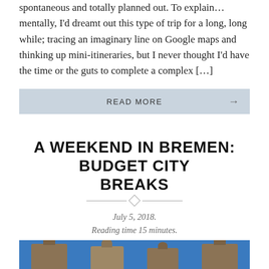spontaneous and totally planned out. To explain… mentally, I'd dreamt out this type of trip for a long, long while; tracing an imaginary line on Google maps and thinking up mini-itineraries, but I never thought I'd have the time or the guts to complete a complex […]
READ MORE →
A WEEKEND IN BREMEN: BUDGET CITY BREAKS
July 5, 2018.
Reading time 15 minutes.
[Figure (photo): Photo of Bremen buildings with dome-topped towers against a blue sky]